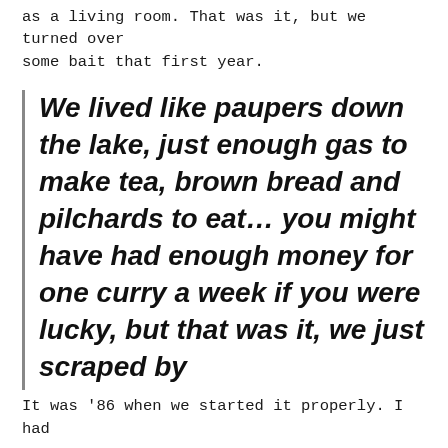as a living room. That was it, but we turned over some bait that first year.
We lived like paupers down the lake, just enough gas to make tea, brown bread and pilchards to eat… you might have had enough money for one curry a week if you were lucky, but that was it, we just scraped by
It was '86 when we started it properly. I had